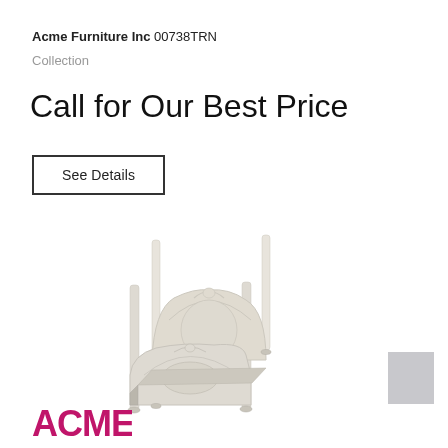Acme Furniture Inc 00738TRN
Collection
Call for Our Best Price
See Details
[Figure (photo): White ornate four-poster bed with decorative headboard and footboard in Victorian style, antique white finish, three-quarter view]
[Figure (logo): ACME furniture logo in pink/magenta capital letters at bottom left]